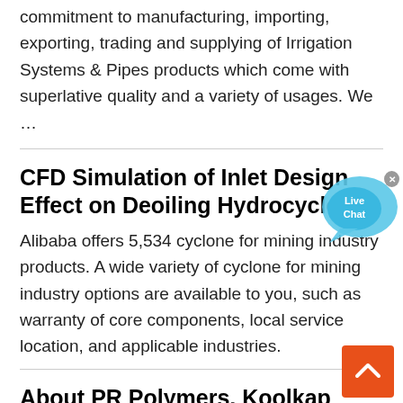commitment to manufacturing, importing, exporting, trading and supplying of Irrigation Systems & Pipes products which come with superlative quality and a variety of usages. We …
CFD Simulation of Inlet Design Effect on Deoiling Hydrocyclo...
Alibaba offers 5,534 cyclone for mining industry products. A wide variety of cyclone for mining industry options are available to you, such as warranty of core components, local service location, and applicable industries.
About PR Polymers, Koolkap
About PR Polymers. Founded in 1992, PR Polymers Pty Ltd (PRP) is a privately owned Australian company, specialising in the manufacture and supply of mineral processing...